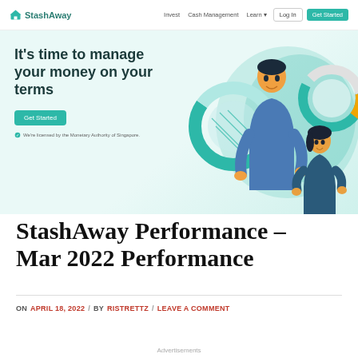StashAway — Invest | Cash Management | Learn | Log In | Get Started
[Figure (illustration): StashAway website hero banner with illustration of two people and pie chart graphics on teal/green gradient background. Text: It's time to manage your money on your terms. Get Started button. We're licensed by the Monetary Authority of Singapore.]
StashAway Performance – Mar 2022 Performance
ON APRIL 18, 2022 / BY RISTRETTZ / LEAVE A COMMENT
Advertisements